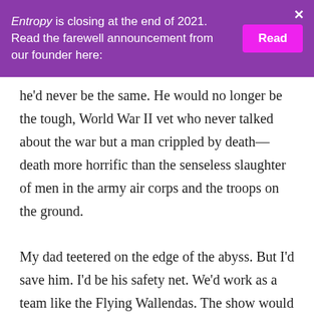Entropy is closing at the end of 2021. Read the farewell announcement from our founder here: [Read]
he'd never be the same. He would no longer be the tough, World War II vet who never talked about the war but a man crippled by death—death more horrific than the senseless slaughter of men in the army air corps and the troops on the ground.
My dad teetered on the edge of the abyss. But I'd save him. I'd be his safety net. We'd work as a team like the Flying Wallendas. The show would go on. At least, that's what I had hoped.